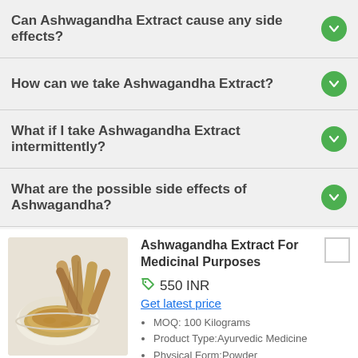Can Ashwagandha Extract cause any side effects?
How can we take Ashwagandha Extract?
What if I take Ashwagandha Extract intermittently?
What are the possible side effects of Ashwagandha?
[Figure (photo): Bowl of ashwagandha powder and ashwagandha root sticks on white background]
Ashwagandha Extract For Medicinal Purposes
550 INR
Get latest price
MOQ: 100 Kilograms
Product Type:Ayurvedic Medicine
Physical Form:Powder
Dosage:As per experts
Curior Phytochem Pvt. Ltd